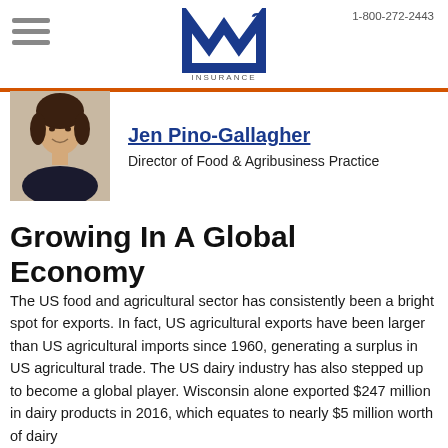1-800-272-2443
[Figure (logo): M3 Insurance logo — stylized M with superscript 3, blue color, with INSURANCE text below]
[Figure (photo): Headshot of Jen Pino-Gallagher, a woman with dark hair, smiling, wearing dark clothing]
Jen Pino-Gallagher
Director of Food & Agribusiness Practice
Growing In A Global Economy
The US food and agricultural sector has consistently been a bright spot for exports. In fact, US agricultural exports have been larger than US agricultural imports since 1960, generating a surplus in US agricultural trade. The US dairy industry has also stepped up to become a global player. Wisconsin alone exported $247 million in dairy products in 2016, which equates to nearly $5 million worth of dairy